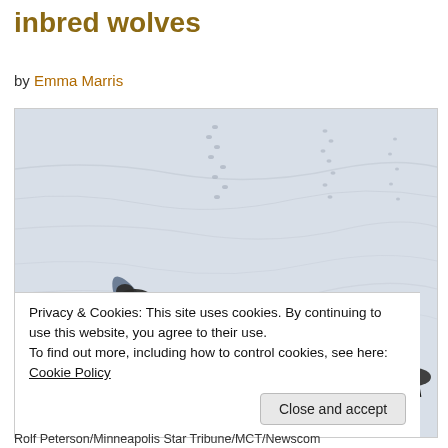inbred wolves
by Emma Marris
[Figure (photo): Aerial view of wolves running across snow-covered ground, casting long shadows. Paw tracks visible in snow.]
Privacy & Cookies: This site uses cookies. By continuing to use this website, you agree to their use.
To find out more, including how to control cookies, see here: Cookie Policy
[Close and accept button]
Rolf Peterson/Minneapolis Star Tribune/MCT/Newscom